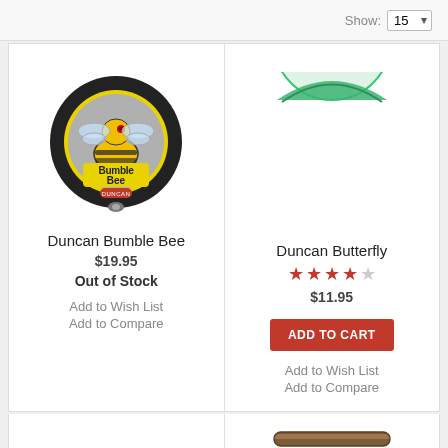Show: 15
[Figure (photo): Duncan Bumble Bee yo-yo product image - yellow and black yo-yo with bee graphic]
Duncan Bumble Bee
$19.95
Out of Stock
Add to Wish List
Add to Compare
[Figure (photo): Duncan Butterfly yo-yo product image - partially visible green butterfly yo-yo]
Duncan Butterfly
4 out of 5 stars rating
$11.95
ADD TO CART
Add to Wish List
Add to Compare
[Figure (photo): Orange yo-yo partially visible at bottom left]
[Figure (photo): Brown/dark item partially visible at bottom right]